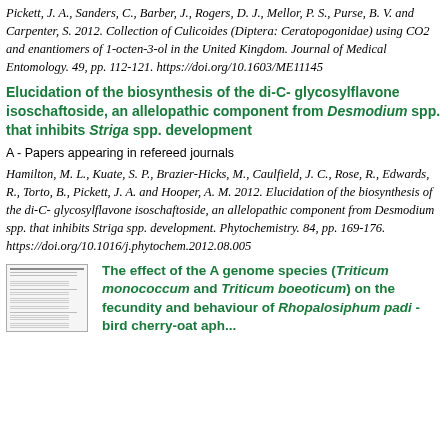Pickett, J. A., Sanders, C., Barber, J., Rogers, D. J., Mellor, P. S., Purse, B. V. and Carpenter, S. 2012. Collection of Culicoides (Diptera: Ceratopogonidae) using CO2 and enantiomers of 1-octen-3-ol in the United Kingdom. Journal of Medical Entomology. 49, pp. 112-121. https://doi.org/10.1603/ME11145
Elucidation of the biosynthesis of the di-C- glycosylflavone isoschaftoside, an allelopathic component from Desmodium spp. that inhibits Striga spp. development
A - Papers appearing in refereed journals
Hamilton, M. L., Kuate, S. P., Brazier-Hicks, M., Caulfield, J. C., Rose, R., Edwards, R., Torto, B., Pickett, J. A. and Hooper, A. M. 2012. Elucidation of the biosynthesis of the di-C- glycosylflavone isoschaftoside, an allelopathic component from Desmodium spp. that inhibits Striga spp. development. Phytochemistry. 84, pp. 169-176. https://doi.org/10.1016/j.phytochem.2012.08.005
[Figure (illustration): Thumbnail image of a scientific paper document]
The effect of the A genome species (Triticum monococcum and Triticum boeoticum) on the fecundity and behaviour of Rhopalosiphum padi - bird cherry-oat aph...